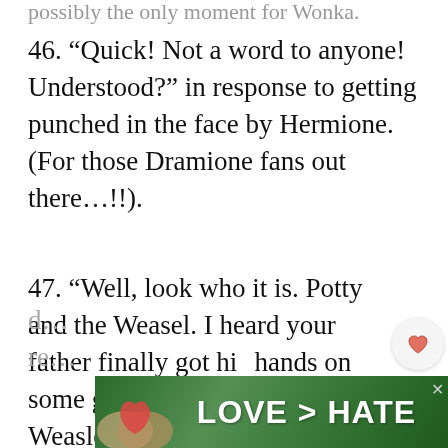46. “Quick! Not a word to anyone! Understood?” in response to getting punched in the face by Hermione. (For those Dramione fans out there…!!).
47. “Well, look who it is. Potty and the Weasel. I heard your father finally got his hands on some gold this summer, Weasley. Did your mother die of shock?”
48. “Look at the state of his robes. He d... re...
[Figure (photo): Advertisement banner showing two hands forming a heart shape against a green background with text LOVE > HATE]